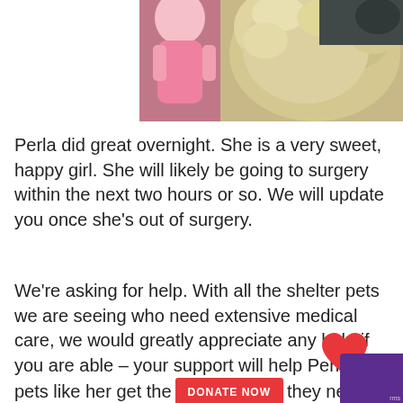[Figure (photo): Partial photo of a fluffy dog holding or near a pink doll/toy, cropped at top]
Perla did great overnight. She is a very sweet, happy girl. She will likely be going to surgery within the next two hours or so. We will update you once she’s out of surgery.
We’re asking for help. With all the shelter pets we are seeing who need extensive medical care, we would greatly appreciate any help if you are able – your support will help Perla and pets like her get the [DONATE NOW] they need.